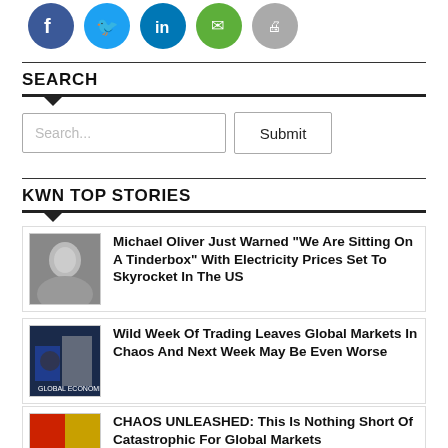[Figure (other): Social media sharing icons: Facebook, Twitter, LinkedIn, Email, Print]
SEARCH
[Figure (other): Search input box with placeholder 'Search...' and a Submit button]
KWN TOP STORIES
[Figure (photo): Headshot of Michael Oliver, elderly man]
Michael Oliver Just Warned “We Are Sitting On A Tinderbox” With Electricity Prices Set To Skyrocket In The US
[Figure (photo): Photo of trading floor or market chaos scene]
Wild Week Of Trading Leaves Global Markets In Chaos And Next Week May Be Even Worse
[Figure (photo): Book cover: Global Economic Meltdown]
CHAOS UNLEASHED: This Is Nothing Short Of Catastrophic For Global Markets